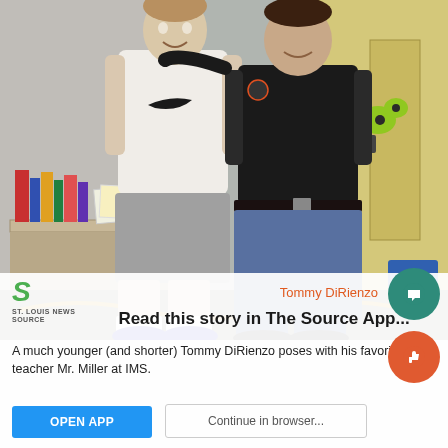[Figure (photo): A younger Tommy DiRienzo (boy in white Nike shirt and gray shorts) posing with his favorite teacher Mr. Miller (adult in black polo shirt and jeans) in a classroom at IMS. Bookshelves and classroom decor visible in background.]
Read this story in The Source App...
Tommy DiRienzo
A much younger (and shorter) Tommy DiRienzo poses with his favorite teacher Mr. Miller at IMS.
Open App
Continue in browser...